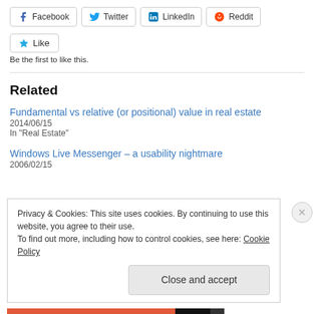[Figure (screenshot): Social share buttons row: Facebook, Twitter, LinkedIn, Reddit]
[Figure (screenshot): Like button with star icon]
Be the first to like this.
Related
Fundamental vs relative (or positional) value in real estate
2014/06/15
In "Real Estate"
Windows Live Messenger – a usability nightmare
2006/02/15
Privacy & Cookies: This site uses cookies. By continuing to use this website, you agree to their use.
To find out more, including how to control cookies, see here: Cookie Policy
Close and accept